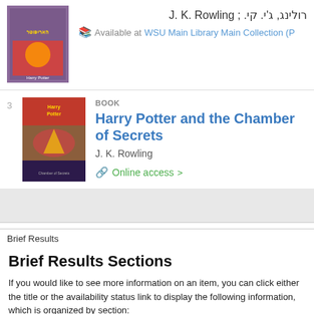רולינג, ג'י. קי. ; J. K. Rowling
Available at WSU Main Library Main Collection (P
[Figure (photo): Book cover - Harry Potter (Hebrew edition)]
[Figure (photo): Book cover - Harry Potter and the Chamber of Secrets]
BOOK
Harry Potter and the Chamber of Secrets
J. K. Rowling
Online access >
Brief Results
Brief Results Sections
If you would like to see more information on an item, you can click either the title or the availability status link to display the following information, which is organized by section:
View Online – This section allows you to display an item that is available for online viewing.
Get It – This section allows you to request physical items (such as books and audio CDs) from your institution. Depending on your institution, you